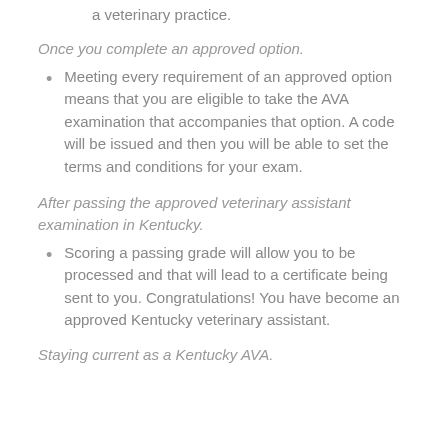a veterinary practice.
Once you complete an approved option.
Meeting every requirement of an approved option means that you are eligible to take the AVA examination that accompanies that option. A code will be issued and then you will be able to set the terms and conditions for your exam.
After passing the approved veterinary assistant examination in Kentucky.
Scoring a passing grade will allow you to be processed and that will lead to a certificate being sent to you. Congratulations! You have become an approved Kentucky veterinary assistant.
Staying current as a Kentucky AVA.